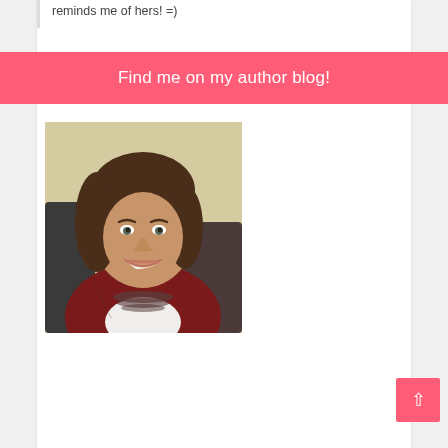reminds me of hers! =)
Find me on my author blog!
[Figure (photo): Portrait photo of a woman with shoulder-length brown hair, wearing a dark red/maroon cardigan over a white top with a layered necklace, smiling, seated against a dark chair background with light wall behind.]